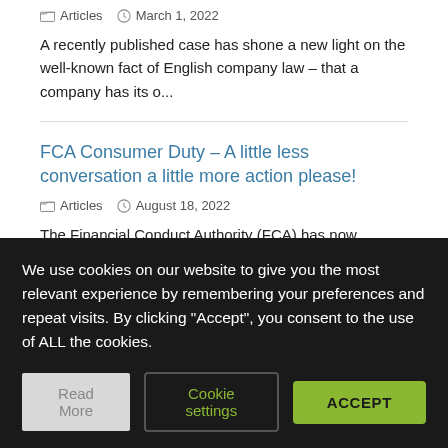Articles   March 1, 2022
A recently published case has shone a new light on the well-known fact of English company law – that a company has its o...
FCA Consumer Duty – A little less conversation a little more action please!
Articles   August 18, 2022
The Financial Conduct Authority (FCA) has now published its
We use cookies on our website to give you the most relevant experience by remembering your preferences and repeat visits. By clicking "Accept", you consent to the use of ALL the cookies.
Read More
Cookie settings
ACCEPT